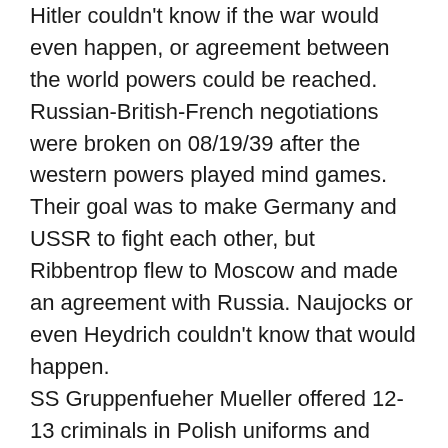Hitler couldn't know if the war would even happen, or agreement between the world powers could be reached. Russian-British-French negotiations were broken on 08/19/39 after the western powers played mind games. Their goal was to make Germany and USSR to fight each other, but Ribbentrop flew to Moscow and made an agreement with Russia. Naujocks or even Heydrich couldn't know that would happen.
SS Gruppenfueher Mueller offered 12-13 criminals in Polish uniforms and instead, brought only one in civilian clothes?
And where are the pictures of that guy? Where are those newspapers and newsreels, which would support the claim of the German false flag